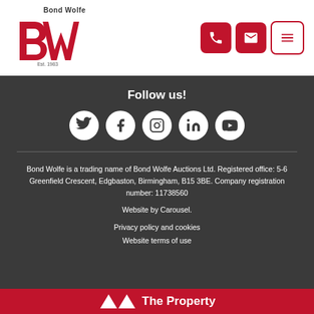[Figure (logo): Bond Wolfe logo with red 'bw' stylized letters and 'Est. 1983' text, with navigation icons (phone, email, menu) on the right]
Follow us!
[Figure (infographic): Five social media icons in white circles: Twitter, Facebook, Instagram, LinkedIn, YouTube]
Bond Wolfe is a trading name of Bond Wolfe Auctions Ltd. Registered office: 5-6 Greenfield Crescent, Edgbaston, Birmingham, B15 3BE. Company registration number: 11738560
Website by Carousel.
Privacy policy and cookies
Website terms of use
The Property